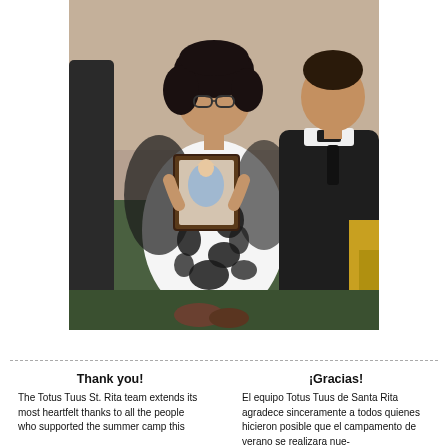[Figure (photo): Two people posing together: a woman in a black and white floral dress holding a framed picture/artwork, and a man in a black clerical suit with a white collar. They are standing at what appears to be an indoor event.]
Thank you!
The Totus Tuus St. Rita team extends its most heartfelt thanks to all the people who supported the summer camp this
¡Gracias!
El equipo Totus Tuus de Santa Rita agradece sinceramente a todos quienes hicieron posible que el campamento de verano se realizara nue-